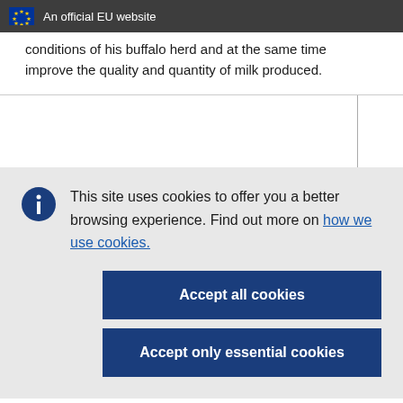An official EU website
conditions of his buffalo herd and at the same time improve the quality and quantity of milk produced.
This site uses cookies to offer you a better browsing experience. Find out more on how we use cookies.
Accept all cookies
Accept only essential cookies